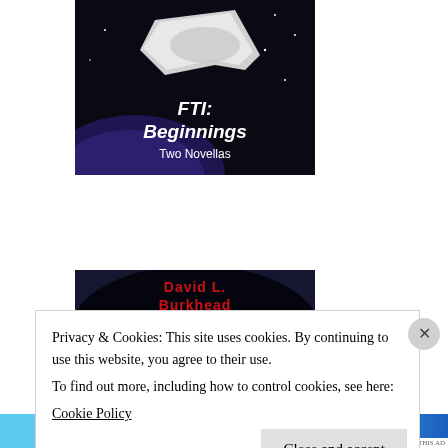[Figure (illustration): Book cover for 'FTI: Beginnings - Two Novellas' showing a spacecraft against a dark space background with white text overlay]
[Figure (illustration): Book cover for 'EMT' by David L. Burkhead showing an astronaut in a spacesuit standing on a lunar surface with red-lettered author name at top]
Privacy & Cookies: This site uses cookies. By continuing to use this website, you agree to their use.
To find out more, including how to control cookies, see here:
Cookie Policy
Close and accept